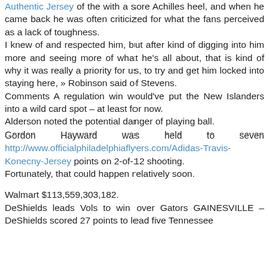Authentic Jersey of the with a sore Achilles heel, and when he came back he was often criticized for what the fans perceived as a lack of toughness.
I knew of and respected him, but after kind of digging into him more and seeing more of what he's all about, that is kind of why it was really a priority for us, to try and get him locked into staying here, » Robinson said of Stevens.
Comments A regulation win would've put the New Islanders into a wild card spot – at least for now.
Alderson noted the potential danger of playing ball.
Gordon Hayward was held to seven http://www.officialphiladelphiaflyers.com/Adidas-Travis-Konecny-Jersey points on 2-of-12 shooting.
Fortunately, that could happen relatively soon.
Walmart $113,559,303,182.
DeShields leads Vols to win over Gators GAINESVILLE – DeShields scored 27 points to lead five Tennessee